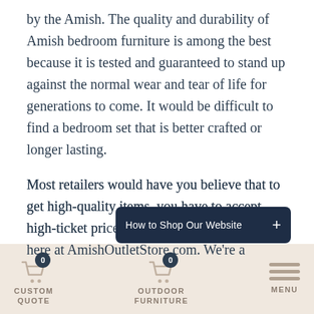by the Amish. The quality and durability of Amish bedroom furniture is among the best because it is tested and guaranteed to stand up against the normal wear and tear of life for generations to come. It would be difficult to find a bedroom set that is better crafted or longer lasting.
High Quality at Low Prices
Most retailers would have you believe that to get high-quality items, you have to accept high-ticket prices. That's not how things work here at AmishOutletStore.com. We're a
[Figure (screenshot): Dark navy tooltip/popup bar reading 'How to Shop Our Website' with a + button on the right]
CUSTOM QUOTE | OUTDOOR FURNITURE | MENU